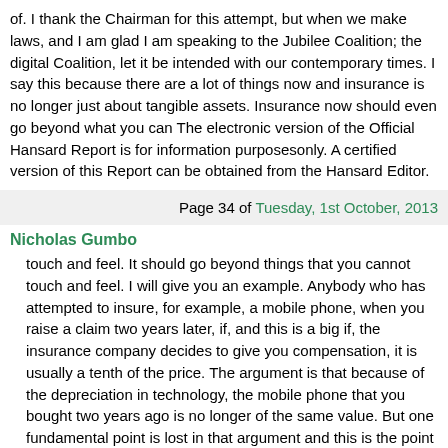of. I thank the Chairman for this attempt, but when we make laws, and I am glad I am speaking to the Jubilee Coalition; the digital Coalition, let it be intended with our contemporary times. I say this because there are a lot of things now and insurance is no longer just about tangible assets. Insurance now should even go beyond what you can The electronic version of the Official Hansard Report is for information purposesonly. A certified version of this Report can be obtained from the Hansard Editor.
Page 34 of Tuesday, 1st October, 2013
Nicholas Gumbo
touch and feel. It should go beyond things that you cannot touch and feel. I will give you an example. Anybody who has attempted to insure, for example, a mobile phone, when you raise a claim two years later, if, and this is a big if, the insurance company decides to give you compensation, it is usually a tenth of the price. The argument is that because of the depreciation in technology, the mobile phone that you bought two years ago is no longer of the same value. But one fundamental point is lost in that argument and this is the point of data contained in that mobile phone. I hope, God willing I will be here for the next four years, so that we make amendments that are in tandem with the